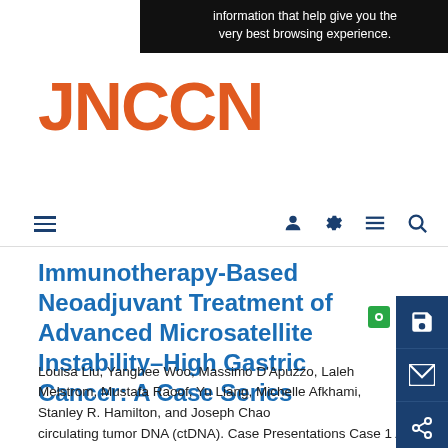information that help give you the very best browsing experience.
[Figure (logo): JNCCN journal logo in orange-red bold font]
Immunotherapy-Based Neoadjuvant Treatment of Advanced Microsatellite Instability–High Gastric Cancer: A Case Series
Louisa Liu, Yanghee Woo, Massimo D'Apuzzo, Laleh Melstrom, Mustafa Raoof, Yu Liang, Michelle Afkhami, Stanley R. Hamilton, and Joseph Chao
circulating tumor DNA (ctDNA). Case Presentations Case 1 A 92-year-old man presented with symptomatic anemia ( Table 1 ).